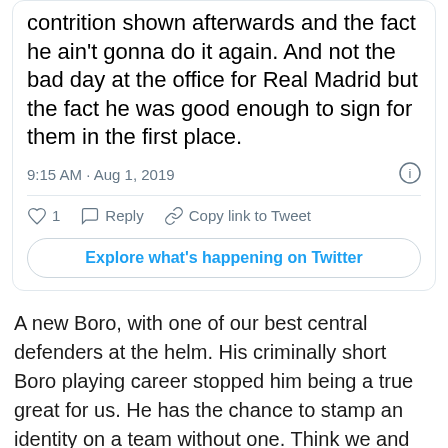[Figure (screenshot): Twitter/X tweet card showing tweet text ending with 'contrition shown afterwards and the fact he ain’t gonna do it again. And not the bad day at the office for Real Madrid but the fact he was good enough to sign for them in the first place.' with timestamp 9:15 AM · Aug 1, 2019, like/reply/copy link actions, and an Explore what's happening on Twitter button.]
A new Boro, with one of our best central defenders at the helm. His criminally short Boro playing career stopped him being a true great for us. He has the chance to stamp an identity on a team without one. Think we and he will surprise a lot of people this season.
Without doubt until one evening of lunacy was the best defender in the country. Faster than Des Walker, superb